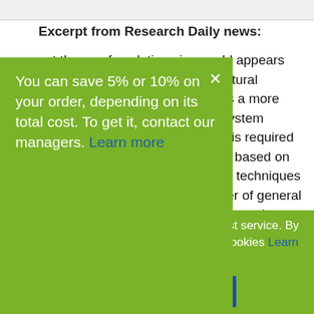Excerpt from Research Daily news:
est theory of evolution ving world appears while nd a great output of sen natural generators. n came to present as a more topics or topics in etic, general system theory, es of video games which is required in most decision making process based on real applications. In mathematics techniques nevertheless , there are a number of general presumption which are insufficient and most of
You can save 5% or 10% on your order, depending on its total cost. To get it, contact our managers. Learn more
Our site uses cookies to offer you the best service. By continuing, you are agreeing to receive cookies Learn more
Accept Cookies